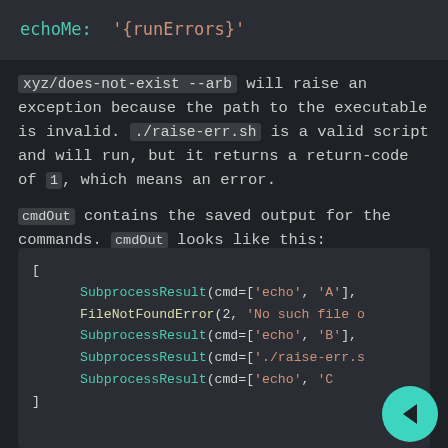[Figure (screenshot): Code snippet showing: echoMe: '{runErrors}']
xyz/does-not-exist --arb will raise an exception because the path to the executable is invalid. ./raise-err.sh is a valid script and will run, but it returns a return-code of 1, which means an error.
cmdOut contains the saved output for the commands. cmdOut looks like this:
[Figure (screenshot): Code block showing a Python list with SubprocessResult and FileNotFoundError entries: [
    SubprocessResult(cmd=['echo', 'A'],
    FileNotFoundError(2, 'No such file o
    SubprocessResult(cmd=['echo', 'B'],
    SubprocessResult(cmd=['./raise-err.s
    SubprocessResult(cmd=['echo', 'C
]]